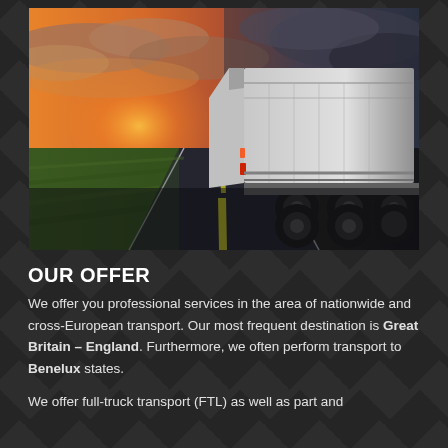[Figure (photo): A truck/semi-trailer driving on an open road at dusk/sunset. The left side shows a dramatic orange and pink sky with clouds and green fields, while the right side shows a darker stormy sky. The truck is a large white articulated lorry viewed from a low angle behind it, showing its rear axles and trailer.]
OUR OFFER
We offer you professional services in the area of nationwide and cross-European transport. Our most frequent destination is Great Britain – England. Furthermore, we often perform transport to Benelux states.
We offer full-truck transport (FTL) as well as part and